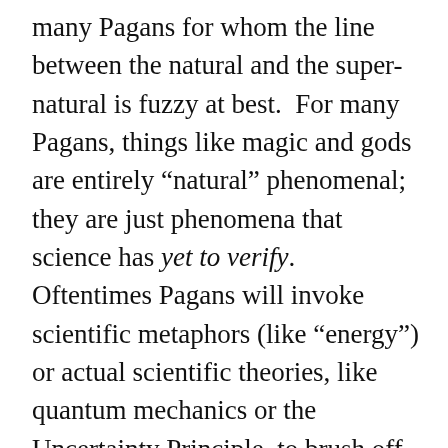many Pagans for whom the line between the natural and the super-natural is fuzzy at best.  For many Pagans, things like magic and gods are entirely “natural” phenomenal; they are just phenomena that science has yet to verify.  Oftentimes Pagans will invoke scientific metaphors (like “energy”) or actual scientific theories, like quantum mechanics or the Uncertainty Principle, to brush off the objections of philosophical naturalists. Regardless of the pseudo-scientific nature of these explanations, even the most dogmatic